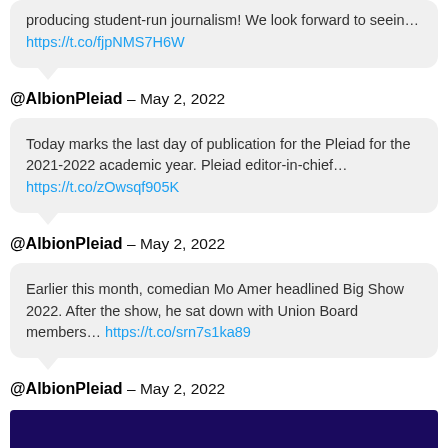producing student-run journalism! We look forward to seein… https://t.co/fjpNMS7H6W
@AlbionPleiad – May 2, 2022
Today marks the last day of publication for the Pleiad for the 2021-2022 academic year. Pleiad editor-in-chief… https://t.co/zOwsqf905K
@AlbionPleiad – May 2, 2022
Earlier this month, comedian Mo Amer headlined Big Show 2022. After the show, he sat down with Union Board members… https://t.co/srn7s1ka89
@AlbionPleiad – May 2, 2022
[Figure (screenshot): Dark blue/purple banner image at bottom of page]